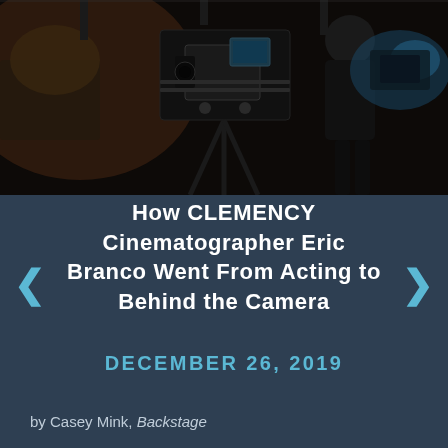[Figure (photo): Behind-the-scenes photo on a film set showing camera equipment and crew members in a dark studio environment]
How CLEMENCY Cinematographer Eric Branco Went From Acting to Behind the Camera
DECEMBER 26, 2019
by Casey Mink, Backstage